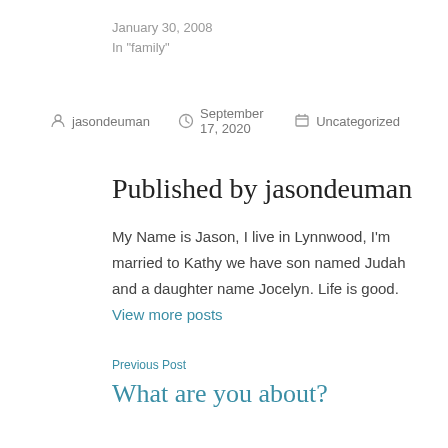January 30, 2008
In "family"
By jasondeuman  September 17, 2020  Uncategorized
Published by jasondeuman
My Name is Jason, I live in Lynnwood, I'm married to Kathy we have son named Judah and a daughter name Jocelyn. Life is good. View more posts
Previous Post
What are you about?